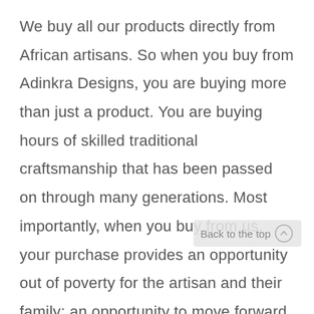We buy all our products directly from African artisans. So when you buy from Adinkra Designs, you are buying more than just a product. You are buying hours of skilled traditional craftsmanship that has been passed on through many generations. Most importantly, when you buy from us, your purchase provides an opportunity out of poverty for the artisan and their family; an opportunity to move forward.

But our desire to help doesn't end
Back to the top